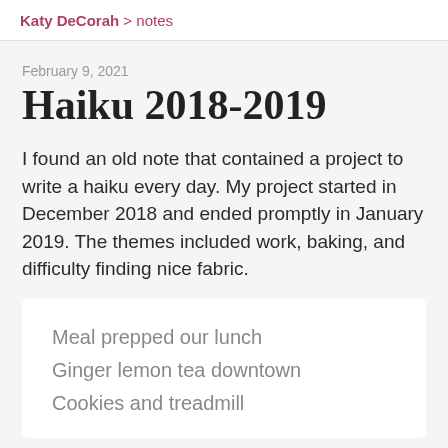Katy DeCorah > notes
February 9, 2021
Haiku 2018-2019
I found an old note that contained a project to write a haiku every day. My project started in December 2018 and ended promptly in January 2019. The themes included work, baking, and difficulty finding nice fabric.
Meal prepped our lunch
Ginger lemon tea downtown
Cookies and treadmill